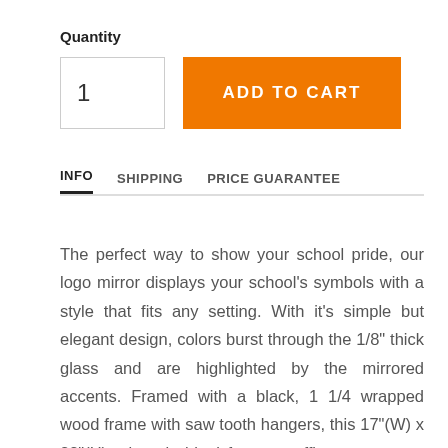Quantity
1
ADD TO CART
INFO   SHIPPING   PRICE GUARANTEE
The perfect way to show your school pride, our logo mirror displays your school's symbols with a style that fits any setting. With it's simple but elegant design, colors burst through the 1/8" thick glass and are highlighted by the mirrored accents. Framed with a black, 1 1/4 wrapped wood frame with saw tooth hangers, this 17"(W) x 22"(H) mirror is ideal for your office, garage, or any room of the house. Whether purchasing as a gift for a